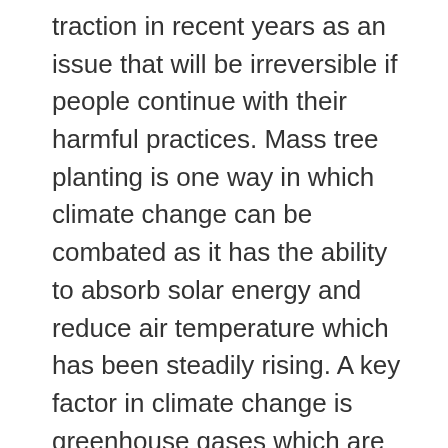traction in recent years as an issue that will be irreversible if people continue with their harmful practices. Mass tree planting is one way in which climate change can be combated as it has the ability to absorb solar energy and reduce air temperature which has been steadily rising. A key factor in climate change is greenhouse gases which are released through activities such as driving a vehicle, operating certain equipment, and the burning of fossil fuels.
Luckily, trees are adept at reducing the